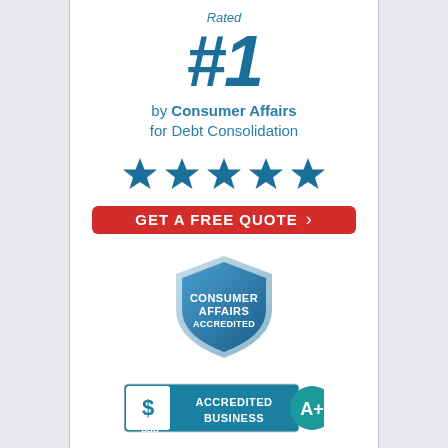Rated
#1
by Consumer Affairs for Debt Consolidation
[Figure (infographic): Five blue five-pointed stars in a row representing a 5-star rating]
[Figure (infographic): Red button with white text: GET A FREE QUOTE with chevron arrow]
[Figure (logo): Consumer Affairs Accredited blue shield badge]
[Figure (logo): BBB Accredited Business A+ badge with teal background and circular A+ rating badge]